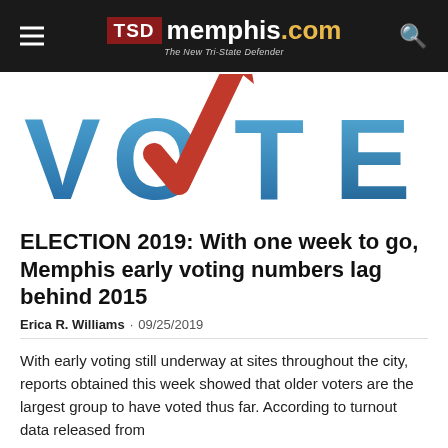TSD memphis.com — The New Tri-State Defender
[Figure (illustration): Large stylized word VOTE in blue letters with a red checkmark replacing the O, on white background]
ELECTION 2019: With one week to go, Memphis early voting numbers lag behind 2015
Erica R. Williams · 09/25/2019
With early voting still underway at sites throughout the city, reports obtained this week showed that older voters are the largest group to have voted thus far. According to turnout data released from